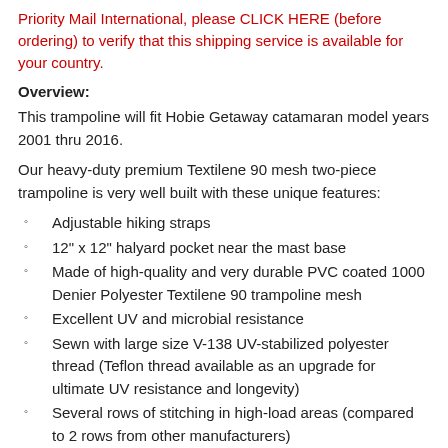Priority Mail International, please CLICK HERE (before ordering) to verify that this shipping service is available for your country.
Overview:
This trampoline will fit Hobie Getaway catamaran model years 2001 thru 2016.
Our heavy-duty premium Textilene 90 mesh two-piece trampoline is very well built with these unique features:
Adjustable hiking straps
12" x 12" halyard pocket near the mast base
Made of high-quality and very durable PVC coated 1000 Denier Polyester Textilene 90 trampoline mesh
Excellent UV and microbial resistance
Sewn with large size V-138 UV-stabilized polyester thread (Teflon thread available as an upgrade for ultimate UV resistance and longevity)
Several rows of stitching in high-load areas (compared to 2 rows from other manufacturers)